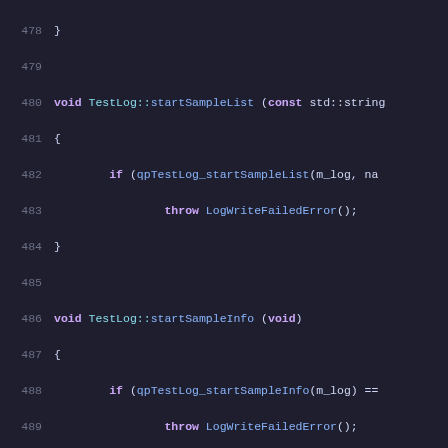Source code listing lines 478-499, C++ code for TestLog class methods including startSampleList, startSampleInfo, writeValueInfo, and endSampleInfo